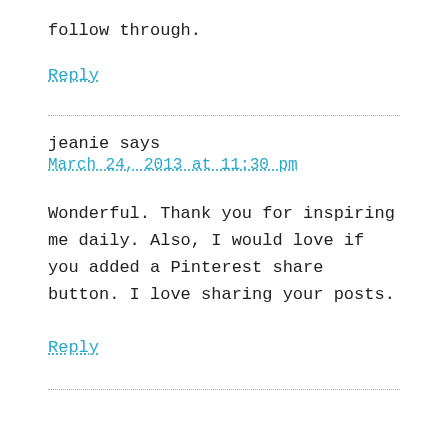follow through.
Reply
jeanie says
March 24, 2013 at 11:30 pm
Wonderful. Thank you for inspiring me daily. Also, I would love if you added a Pinterest share button. I love sharing your posts.
Reply